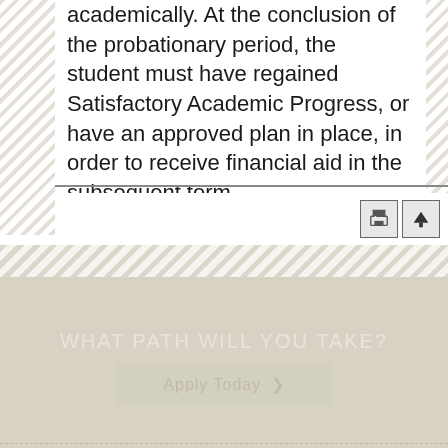academically. At the conclusion of the probationary period, the student must have regained Satisfactory Academic Progress, or have an approved plan in place, in order to receive financial aid in the subsequent term.
[Figure (screenshot): Toolbar with print and scroll-to-top buttons]
WHAT PATH WILL YOU TAKE?
Apply Today ❯